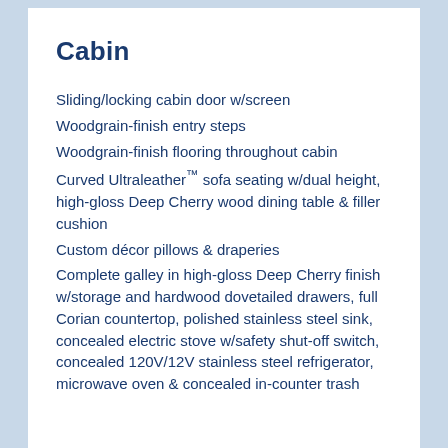Cabin
Sliding/locking cabin door w/screen
Woodgrain-finish entry steps
Woodgrain-finish flooring throughout cabin
Curved Ultraleather™ sofa seating w/dual height, high-gloss Deep Cherry wood dining table & filler cushion
Custom décor pillows & draperies
Complete galley in high-gloss Deep Cherry finish w/storage and hardwood dovetailed drawers, full Corian countertop, polished stainless steel sink, concealed electric stove w/safety shut-off switch, concealed 120V/12V stainless steel refrigerator, microwave oven & concealed in-counter trash